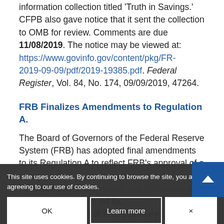information collection titled 'Truth in Savings.' CFPB also gave notice that it sent the collection to OMB for review. Comments are due 11/08/2019. The notice may be viewed at: https://www.govinfo.gov/content/pkg/FR-2019-09-09/pdf/2019-19385.pdf. Federal Register, Vol. 84, No. 174, 09/09/2019, 47264.
FRB Finalizes Amendments to Regulation A.
The Board of Governors of the Federal Reserve System (FRB) has adopted final amendments to its Regulation A to reflect FRB's approval of a [partially obscured] Federal Reserve [obscured] credit [obscured] at each [obscured] automatically [obscured] by formula as a result of FRB's primary credit rate